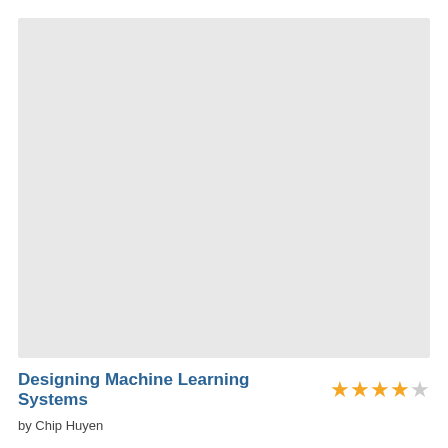[Figure (other): Book cover image placeholder — light gray rectangle representing the cover of 'Designing Machine Learning Systems']
Designing Machine Learning Systems
by Chip Huyen